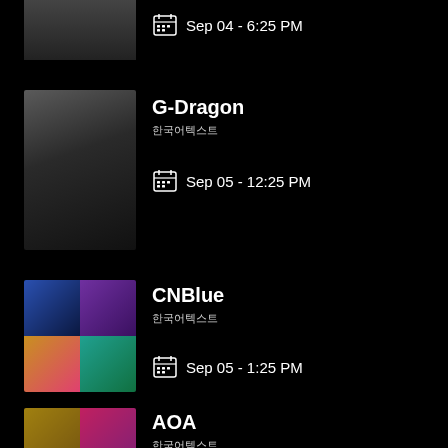[Figure (photo): Partial top entry with artist photo cropped at top, date Sep 04 - 6:25 PM]
Sep 04 - 6:25 PM
[Figure (photo): G-Dragon artist photo, black and white portrait]
G-Dragon
한국어텍스트
Sep 05 - 12:25 PM
[Figure (photo): CNBlue 2x2 grid of concert photos]
CNBlue
한국어텍스트
Sep 05 - 1:25 PM
[Figure (photo): AOA 1x2 grid of photos]
AOA
한국어텍스트